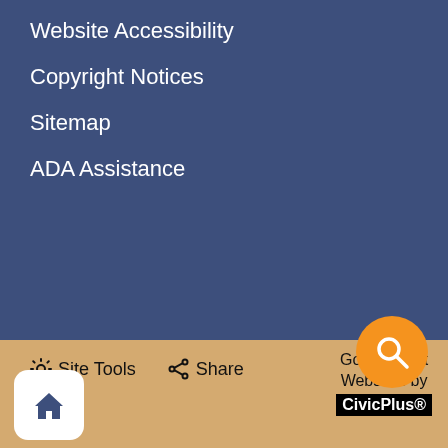Website Accessibility
Copyright Notices
Sitemap
ADA Assistance
Site Tools  Share  Government Websites by CivicPlus®
[Figure (other): Orange circular search button with magnifying glass icon]
[Figure (other): White rounded square home button with house icon]